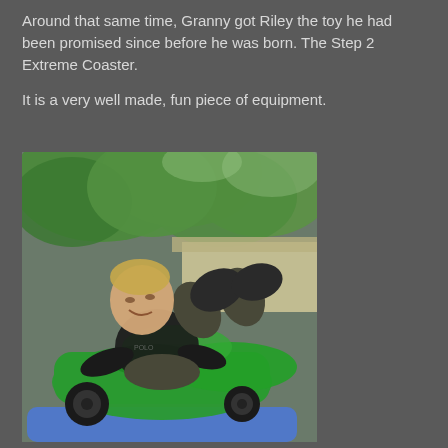Around that same time, Granny got Riley the toy he had been promised since before he was born. The Step 2 Extreme Coaster.
It is a very well made, fun piece of equipment.
[Figure (photo): A young toddler boy sitting in a green Step 2 toy car/coaster, smiling with feet up, outdoors with green trees and a building in the background.]